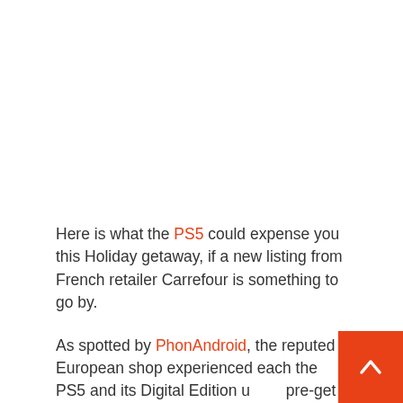Here is what the PS5 could expense you this Holiday getaway, if a new listing from French retailer Carrefour is something to go by.
As spotted by PhonAndroid, the reputed European shop experienced each the PS5 and its Digital Edition up for pre-get on-line, priced at €499 and €399 respectively.